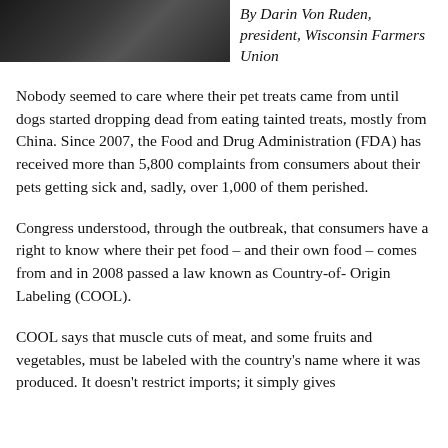[Figure (photo): Black and white or dark photo of a person, partially visible at the top of the page]
By Darin Von Ruden, president, Wisconsin Farmers Union
Nobody seemed to care where their pet treats came from until dogs started dropping dead from eating tainted treats, mostly from China. Since 2007, the Food and Drug Administration (FDA) has received more than 5,800 complaints from consumers about their pets getting sick and, sadly, over 1,000 of them perished.
Congress understood, through the outbreak, that consumers have a right to know where their pet food – and their own food – comes from and in 2008 passed a law known as Country-of- Origin Labeling (COOL).
COOL says that muscle cuts of meat, and some fruits and vegetables, must be labeled with the country's name where it was produced. It doesn't restrict imports; it simply gives